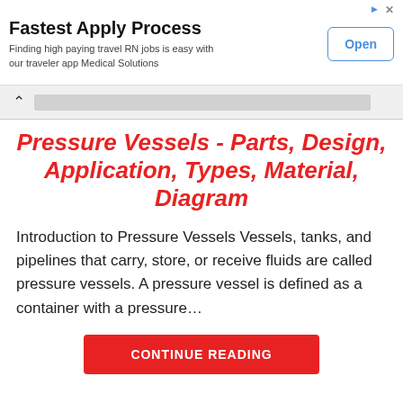Fastest Apply Process
Finding high paying travel RN jobs is easy with our traveler app Medical Solutions
Pressure Vessels - Parts, Design, Application, Types, Material, Diagram
Introduction to Pressure Vessels Vessels, tanks, and pipelines that carry, store, or receive fluids are called pressure vessels. A pressure vessel is defined as a container with a pressure...
CONTINUE READING